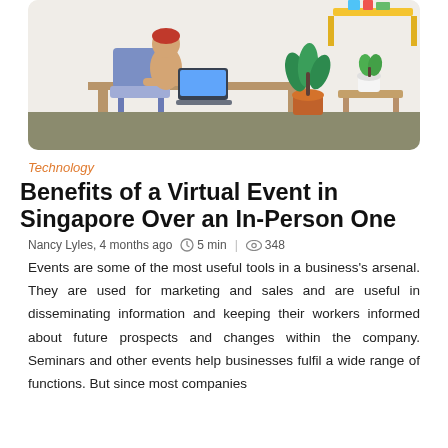[Figure (illustration): Flat style illustration of a person working at a desk in a modern home office environment with plants and furniture in the background.]
Technology
Benefits of a Virtual Event in Singapore Over an In-Person One
Nancy Lyles, 4 months ago   5 min  |   348
Events are some of the most useful tools in a business's arsenal. They are used for marketing and sales and are useful in disseminating information and keeping their workers informed about future prospects and changes within the company. Seminars and other events help businesses fulfil a wide range of functions. But since most companies